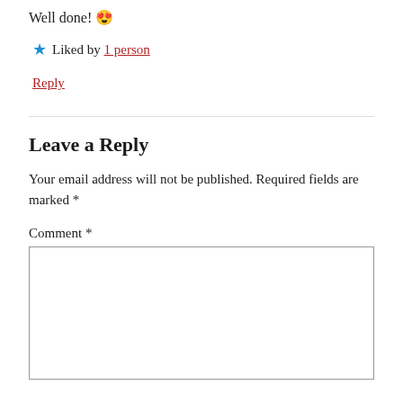Well done! 😍
★ Liked by 1 person
Reply
Leave a Reply
Your email address will not be published. Required fields are marked *
Comment *